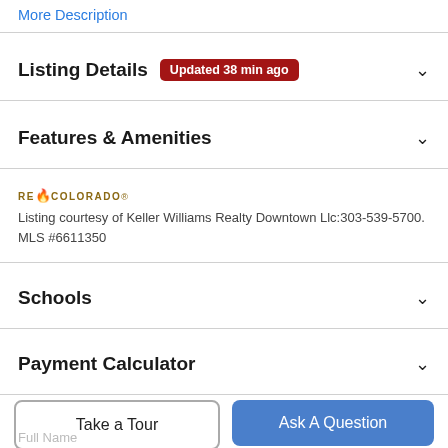More Description
Listing Details  Updated 38 min ago
Features & Amenities
[Figure (logo): REcolorado logo]
Listing courtesy of Keller Williams Realty Downtown Llc:303-539-5700. MLS #6611350
Schools
Payment Calculator
Take a Tour
Ask A Question
Full Name